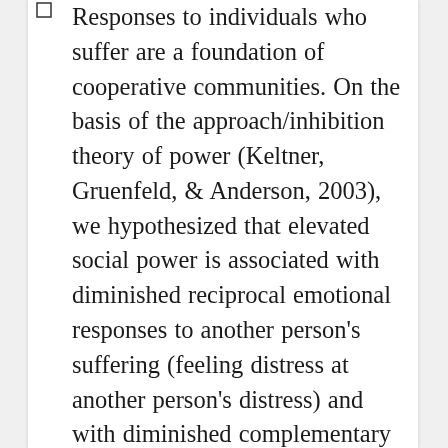Responses to individuals who suffer are a foundation of cooperative communities. On the basis of the approach/inhibition theory of power (Keltner, Gruenfeld, & Anderson, 2003), we hypothesized that elevated social power is associated with diminished reciprocal emotional responses to another person's suffering (feeling distress at another person's distress) and with diminished complementary emotion (e.g., compassion). In face-to-face conversations, participants disclosed experiences that had caused them suffering. As predicted, participants with a higher sense of power experienced less distress and less